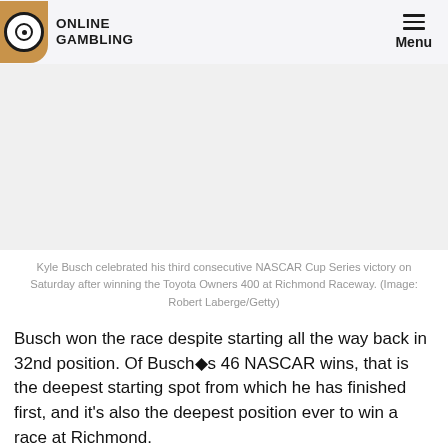ONLINE GAMBLING — Menu
[Figure (photo): Photo of Kyle Busch celebrating NASCAR Cup Series victory at Richmond Raceway (image area appears blank/white in this render)]
Kyle Busch celebrated his third consecutive NASCAR Cup Series victory on Saturday after winning the Toyota Owners 400 at Richmond Raceway. (Image: Robert Laberge/Getty)
Busch won the race despite starting all the way back in 32nd position. Of Busch's 46 NASCAR wins, that is the deepest starting spot from which he has finished first, and it's also the deepest position ever to win a race at Richmond.